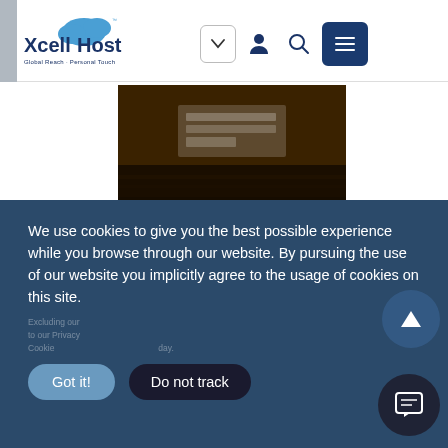XcellHost — Global Reach · Personal Touch navigation bar with logo, dropdown, person icon, search icon, menu button
[Figure (screenshot): Dark brownish screenshot of a website page with a light overlay box, on a dark field/grass background]
We use cookies to give you the best possible experience while you browse through our website. By pursuing the use of our website you implicitly agree to the usage of cookies on this site.
Got it!
Do not track